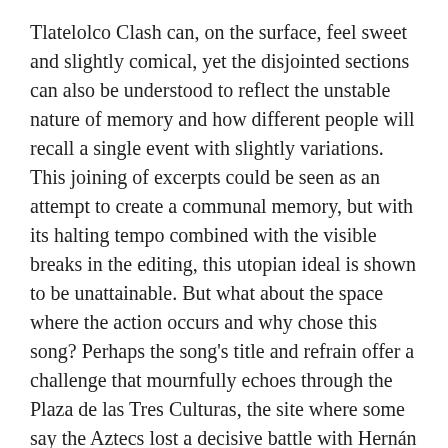Tlatelolco Clash can, on the surface, feel sweet and slightly comical, yet the disjointed sections can also be understood to reflect the unstable nature of memory and how different people will recall a single event with slightly variations. This joining of excerpts could be seen as an attempt to create a communal memory, but with its halting tempo combined with the visible breaks in the editing, this utopian ideal is shown to be unattainable. But what about the space where the action occurs and why chose this song? Perhaps the song's title and refrain offer a challenge that mournfully echoes through the Plaza de las Tres Culturas, the site where some say the Aztecs lost a decisive battle with Hernán Cortés in the 16th century and where students and civilians were massacred while taking part in political demonstrations in 1968.
In a discussion held at the Haus der Kunst on 6 November 2014, Sala explained that he began to incorporate music into his work because he had lost trust in language and was drawn to